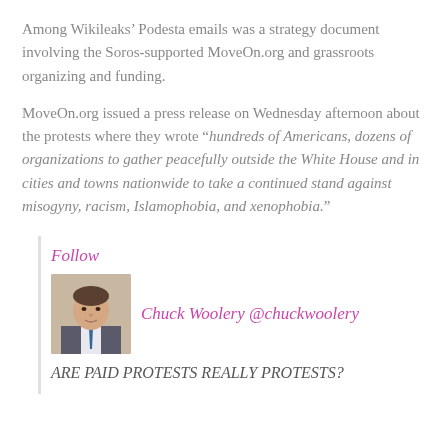Among Wikileaks’ Podesta emails was a strategy document involving the Soros-supported MoveOn.org and grassroots organizing and funding.
MoveOn.org issued a press release on Wednesday afternoon about the protests where they wrote “hundreds of Americans, dozens of organizations to gather peacefully outside the White House and in cities and towns nationwide to take a continued stand against misogyny, racism, Islamophobia, and xenophobia.”
Follow
[Figure (photo): Profile photo of Chuck Woolery, a man in a suit]
Chuck Woolery @chuckwoolery
ARE PAID PROTESTS REALLY PROTESTS?